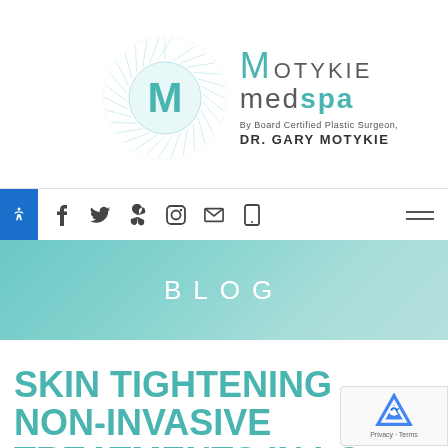[Figure (logo): Motykie MedSpa logo with circular sunburst M icon, text 'MOTYKIE medspa By Board Certified Plastic Surgeon, DR. GARY MOTYKIE']
Social media navigation icons (Facebook, Twitter, Yelp, Instagram, Email, Phone) and hamburger menu with accessibility button
BLOG
SKIN TIGHTENING NON-INVASIVE TREATMENTS IN LO